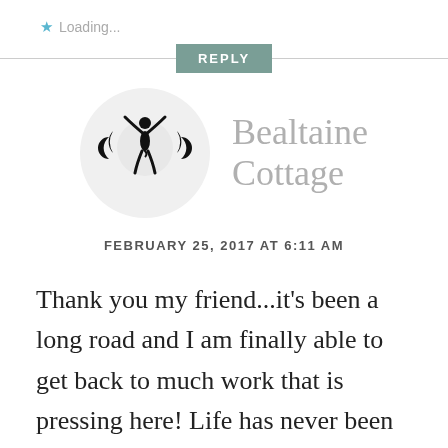★ Loading...
REPLY
[Figure (logo): Circular avatar with a triple moon goddess symbol in black on light gray background]
Bealtaine Cottage
FEBRUARY 25, 2017 AT 6:11 AM
Thank you my friend...it's been a long road and I am finally able to get back to much work that is pressing here! Life has never been busier or more